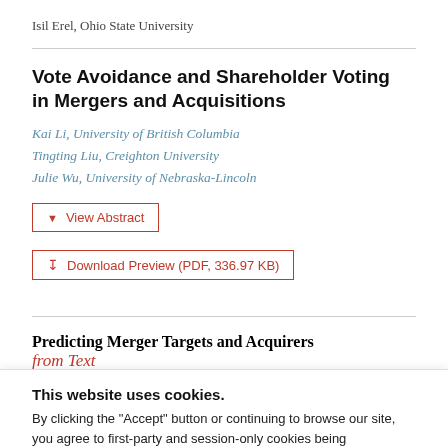Isil Erel, Ohio State University
Vote Avoidance and Shareholder Voting in Mergers and Acquisitions
Kai Li, University of British Columbia
Tingting Liu, Creighton University
Julie Wu, University of Nebraska-Lincoln
▼ View Abstract
⬇ Download Preview (PDF, 336.97 KB)
Predicting Merger Targets and Acquirers from Text
This website uses cookies.
By clicking the "Accept" button or continuing to browse our site, you agree to first-party and session-only cookies being